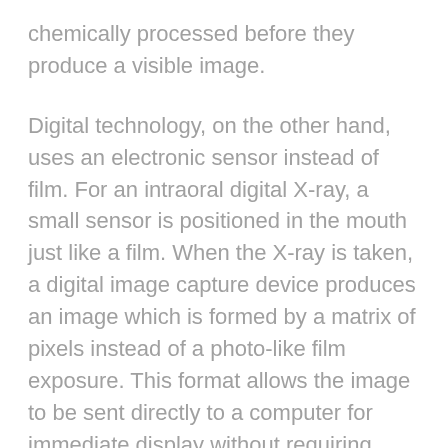chemically processed before they produce a visible image.
Digital technology, on the other hand, uses an electronic sensor instead of film. For an intraoral digital X-ray, a small sensor is positioned in the mouth just like a film. When the X-ray is taken, a digital image capture device produces an image which is formed by a matrix of pixels instead of a photo-like film exposure. This format allows the image to be sent directly to a computer for immediate display without requiring processing.
Even though these methods seem very similar, digital X-rays offer some significant advantages over traditional films. Let's look at how they compare, more